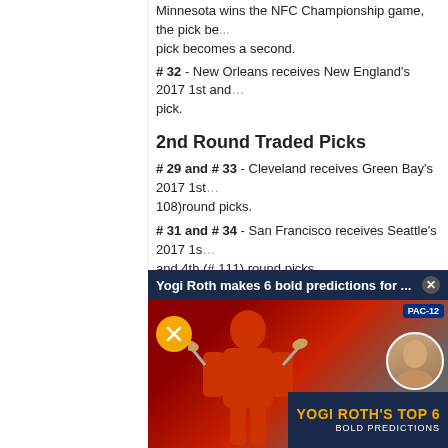Minnesota wins the NFC Championship game, the pick becomes a second.
# 32 - New Orleans receives New England's 2017 1st and ... pick.
2nd Round Traded Picks
# 29 and # 33 - Cleveland receives Green Bay's 2017 1st ... 108)round picks.
# 31 and # 34 - San Francisco receives Seattle's 2017 1st ... and 4th (# 111) round picks.
# 52 - Cleveland receives Tennessee's 2017 2nd round pi... Cleveland's 2016 1st and 6th round pick.
# 64 - Carolina receives New England's 2017 2nd round p...
Pre-Draft 1st Round Traded Picks
# ... 45... 7th... co...
# ... pi... Cl... 5th...
# 1 Mi... pi...
[Figure (screenshot): Video overlay: Yogi Roth makes 6 bold predictions for ... with a football player in a red jersey and Yogi Roth's Top 6 Bold Predictions branding]